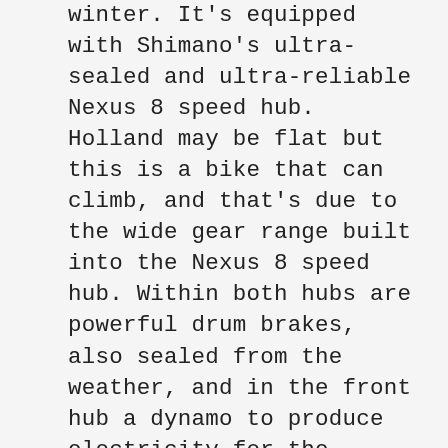winter. It's equipped with Shimano's ultra-sealed and ultra-reliable Nexus 8 speed hub. Holland may be flat but this is a bike that can climb, and that's due to the wide gear range built into the Nexus 8 speed hub. Within both hubs are powerful drum brakes, also sealed from the weather, and in the front hub a dynamo to produce electricity for the German-made lighting system. The list of features is near-endless: Schwalbe's top puncture-resistant tire, the Marathon Plus; a Hebie double kickstand with a steering stabilizer, the ever-useful Dutch rear-wheel lock, a luxury Brooks B67 saddle. Yes, this is a bike that is meant to be your car.
Like all Dutch bikes, the Craighton is made for real life, whether that's an important meeting, a romantic date, a formal affair, or a slouchy trip